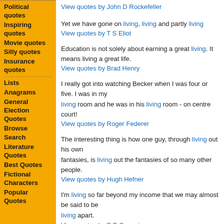Political quotes
Inspiring quotes
Movie quotes
Silly quotes
Insurance quotes
Lists
Anagrams
General Election Quotes
Browse
Search
Literature Quotes
Best Quotes
Fictional Characters
Popular Quotes
View quotes by John D Rockefeller
Yet we have gone on living, living and partly living
View quotes by T S Eliot
Education is not solely about earning a great living. It means living a great life.
View quotes by Brad Henry
I really got into watching Becker when I was four or five. I was in my living room and he was in his living room - on centre court!
View quotes by Roger Federer
The interesting thing is how one guy, through living out his own fantasies, is living out the fantasies of so many other people.
View quotes by Hugh Hefner
I'm living so far beyond my income that we may almost be said to be living apart.
View quotes by E E Cummings
Tradition does not mean that the living are dead, it means that the dead are living.
View quotes by Harold McMillan